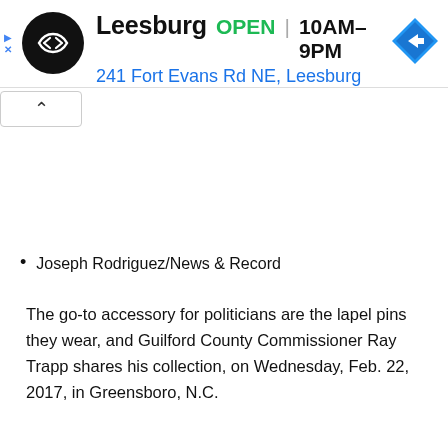[Figure (screenshot): Ad banner showing a store logo (black circle with double arrow symbol), store name 'Leesburg', status 'OPEN', hours '10AM-9PM', address '241 Fort Evans Rd NE, Leesburg', and a blue navigation diamond icon. Small play and X icons on the left edge.]
Joseph Rodriguez/News & Record
The go-to accessory for politicians are the lapel pins they wear, and Guilford County Commissioner Ray Trapp shares his collection, on Wednesday, Feb. 22, 2017, in Greensboro, N.C.